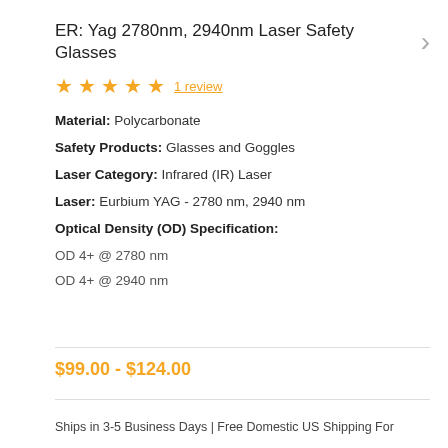ER: Yag 2780nm, 2940nm Laser Safety Glasses
★★★★★ 1 review
Material: Polycarbonate
Safety Products: Glasses and Goggles
Laser Category: Infrared (IR) Laser
Laser: Eurbium YAG - 2780 nm, 2940 nm
Optical Density (OD) Specification:
OD 4+ @ 2780 nm
OD 4+ @ 2940 nm
$99.00 - $124.00
Ships in 3-5 Business Days | Free Domestic US Shipping For